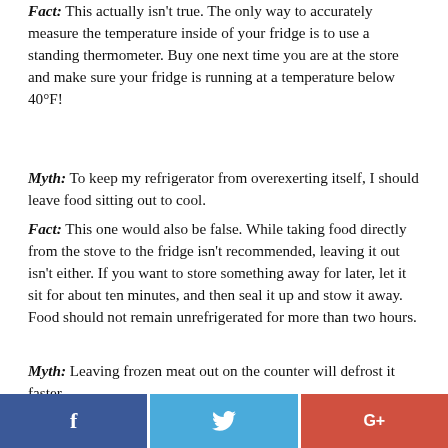Fact: This actually isn't true. The only way to accurately measure the temperature inside of your fridge is to use a standing thermometer. Buy one next time you are at the store and make sure your fridge is running at a temperature below 40°F!
Myth: To keep my refrigerator from overexerting itself, I should leave food sitting out to cool.
Fact: This one would also be false. While taking food directly from the stove to the fridge isn't recommended, leaving it out isn't either. If you want to store something away for later, let it sit for about ten minutes, and then seal it up and stow it away. Food should not remain unrefrigerated for more than two hours.
Myth: Leaving frozen meat out on the counter will defrost it faster.